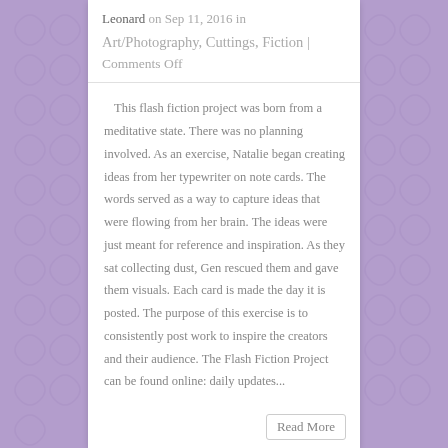Leonard on Sep 11, 2016 in
Art/Photography, Cuttings, Fiction | Comments Off
This flash fiction project was born from a meditative state. There was no planning involved. As an exercise, Natalie began creating ideas from her typewriter on note cards. The words served as a way to capture ideas that were flowing from her brain. The ideas were just meant for reference and inspiration. As they sat collecting dust, Gen rescued them and gave them visuals. Each card is made the day it is posted. The purpose of this exercise is to consistently post work to inspire the creators and their audience. The Flash Fiction Project can be found online: daily updates...
Read More